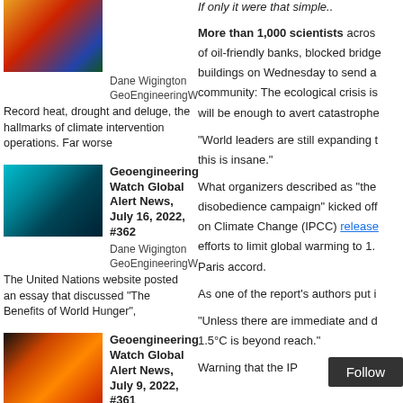[Figure (photo): Colorful heat map image, partial view at top of left column]
Dane Wigington GeoEngineeringWatch.org
Record heat, drought and deluge, the hallmarks of climate intervention operations. Far worse
[Figure (photo): Satellite image of hurricane/cyclone, teal and blue tones]
Geoengineering Watch Global Alert News, July 16, 2022, #362
Dane Wigington GeoEngineeringWatch.org
The United Nations website posted an essay that discussed "The Benefits of World Hunger",
[Figure (photo): Volcanic or wildfire image with glowing red and orange lava/fire]
Geoengineering Watch Global Alert News, July 9, 2022, #361
Dane Wigington GeoEngineeringWatch.org
California redwoods in flames, Australia under water, crops failing all over the world,
[Figure (photo): Book cover: Drilling Under Lake Mead To Drain The Last Drop]
Drilling Under Lake Mead To Drain The Last Drop
Dane Wigington
If only it were that simple..
More than 1,000 scientists across of oil-friendly banks, blocked bridge buildings on Wednesday to send a community: The ecological crisis is will be enough to avert catastrophe
"World leaders are still expanding this is insane."
What organizers described as "the disobedience campaign" kicked off on Climate Change (IPCC) released efforts to limit global warming to 1. Paris accord.
As one of the report's authors put i
"Unless there are immediate and d 1.5°C is beyond reach."
Warning that the IP